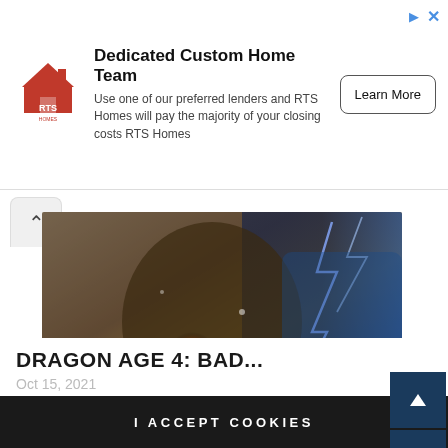[Figure (illustration): RTS Homes advertisement banner with logo, headline, subtext and Learn More button]
[Figure (photo): Dragon Age 4 game artwork showing armored warrior with fire and lightning effects]
DRAGON AGE 4: BAD...
Oct 15, 2021
Our website uses cookies. By using our website and agreeing to this policy you consent to our use of cookies in accordance with the terms of this policy. If you do not consent to the use of these cookies please disable them following the instructions in this Cookie Notice so that cookies from this website cannot place on your device.
I ACCEPT COOKIES